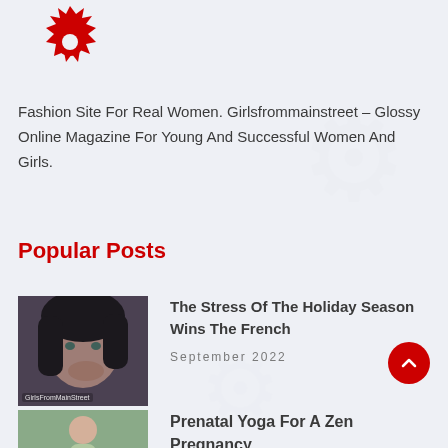[Figure (logo): Red gear/sun-burst logo icon for Girlsfrommainstreet fashion site]
Fashion Site For Real Women. Girlsfrommainstreet - Glossy Online Magazine For Young And Successful Women And Girls.
Popular Posts
[Figure (photo): Woman biting her nails, looking stressed, with watermark GirlsFromMainStreet]
The Stress Of The Holiday Season Wins The French
September 2022
[Figure (photo): Woman in yoga pose, prenatal yoga post thumbnail]